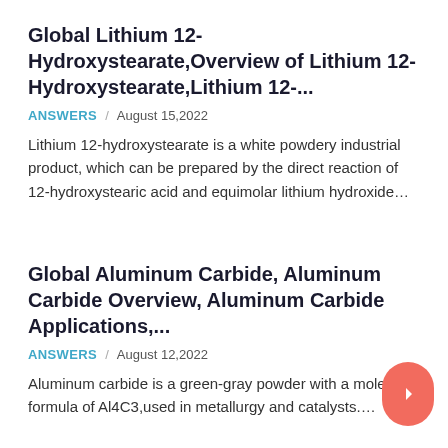Global Lithium 12-Hydroxystearate,Overview of Lithium 12-Hydroxystearate,Lithium 12-...
ANSWERS / August 15,2022
Lithium 12-hydroxystearate is a white powdery industrial product, which can be prepared by the direct reaction of 12-hydroxystearic acid and equimolar lithium hydroxide…
Global Aluminum Carbide, Aluminum Carbide Overview, Aluminum Carbide Applications,...
ANSWERS / August 12,2022
Aluminum carbide is a green-gray powder with a molecular formula of Al4C3,used in metallurgy and catalysts….